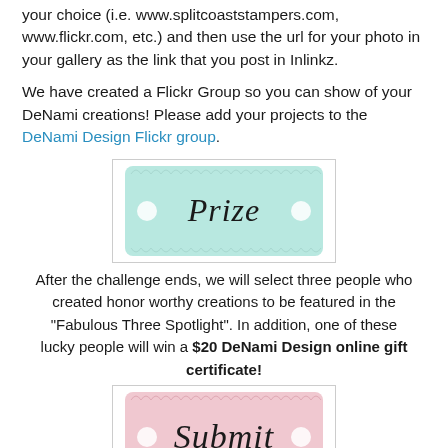your choice (i.e. www.splitcoaststampers.com, www.flickr.com, etc.) and then use the url for your photo in your gallery as the link that you post in Inlinkz.
We have created a Flickr Group so you can show of your DeNami creations! Please add your projects to the DeNami Design Flickr group.
[Figure (illustration): A mint/teal colored scallop-edged ticket-style badge with the cursive word 'Prize' in the center, with two white circular decorations on either side.]
After the challenge ends, we will select three people who created honor worthy creations to be featured in the "Fabulous Three Spotlight". In addition, one of these lucky people will win a $20 DeNami Design online gift certificate!
[Figure (illustration): A pink colored scallop-edged ticket-style badge with the cursive word 'Submit' in the center.]